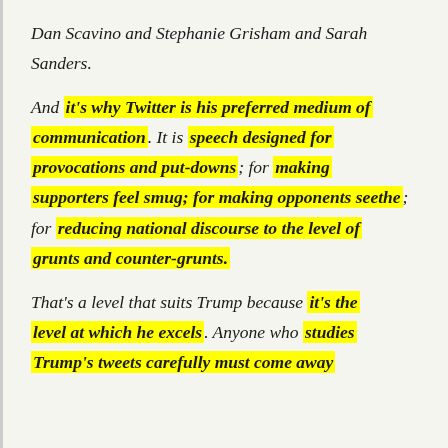Dan Scavino and Stephanie Grisham and Sarah Sanders.
And it's why Twitter is his preferred medium of communication. It is speech designed for provocations and put-downs; for making supporters feel smug; for making opponents seethe; for reducing national discourse to the level of grunts and counter-grunts.
That's a level that suits Trump because it's the level at which he excels. Anyone who studies Trump's tweets carefully must come away